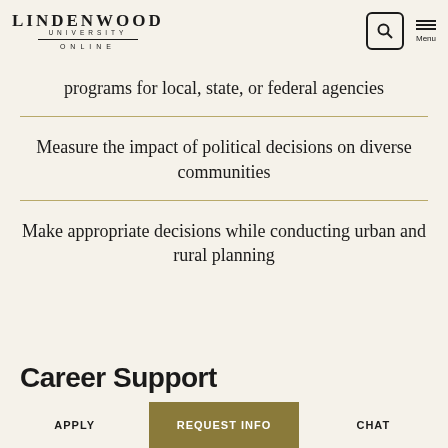LINDENWOOD UNIVERSITY ONLINE
programs for local, state, or federal agencies
Measure the impact of political decisions on diverse communities
Make appropriate decisions while conducting urban and rural planning
Career Support
APPLY | REQUEST INFO | CHAT